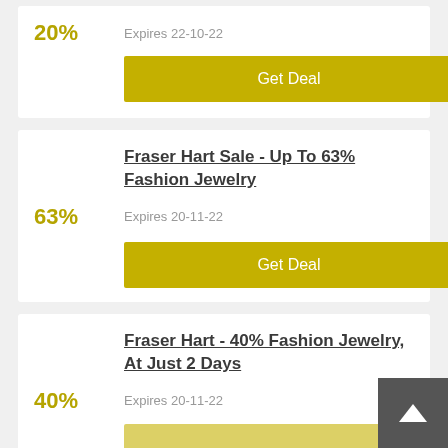20%
Expires 22-10-22
Get Deal
Fraser Hart Sale - Up To 63% Fashion Jewelry
63%
Expires 20-11-22
Get Deal
Fraser Hart - 40% Fashion Jewelry, At Just 2 Days
40%
Expires 20-11-22